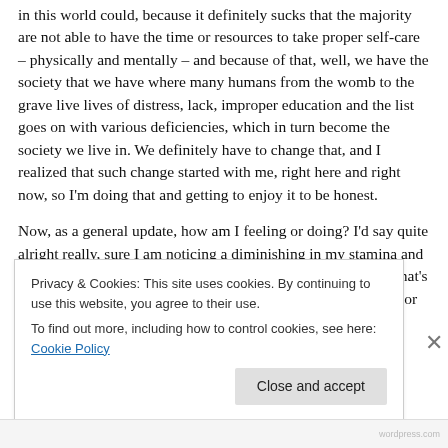in this world could, because it definitely sucks that the majority are not able to have the time or resources to take proper self-care – physically and mentally – and because of that, well, we have the society that we have where many humans from the womb to the grave live lives of distress, lack, improper education and the list goes on with various deficiencies, which in turn become the society we live in. We definitely have to change that, and I realized that such change started with me, right here and right now, so I'm doing that and getting to enjoy it to be honest.
Now, as a general update, how am I feeling or doing? I'd say quite alright really, sure I am noticing a diminishing in my stamina and that means also being considerate and understanding of why that's happening, and so to not judge myself for having to take naps or take things 'easier' – seeing it as 'ugh I feel lazy' – but rather reminding myself: I am creating/baking/growing a new being inside me! How also
Privacy & Cookies: This site uses cookies. By continuing to use this website, you agree to their use.
To find out more, including how to control cookies, see here: Cookie Policy